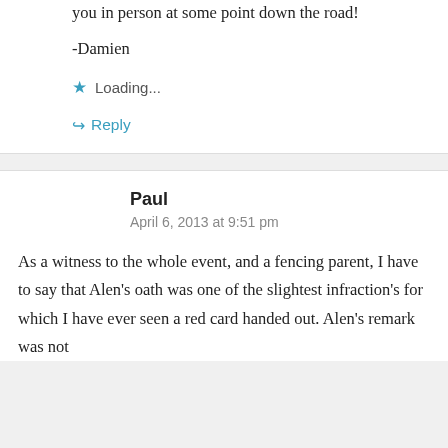you in person at some point down the road!
-Damien
Loading...
Reply
Paul
April 6, 2013 at 9:51 pm
As a witness to the whole event, and a fencing parent, I have to say that Alen's oath was one of the slightest infraction's for which I have ever seen a red card handed out. Alen's remark was not